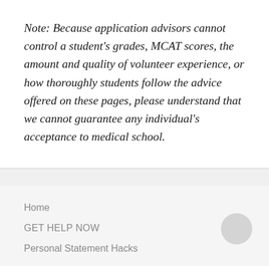Note: Because application advisors cannot control a student's grades, MCAT scores, the amount and quality of volunteer experience, or how thoroughly students follow the advice offered on these pages, please understand that we cannot guarantee any individual's acceptance to medical school.
Home
GET HELP NOW
Personal Statement Hacks